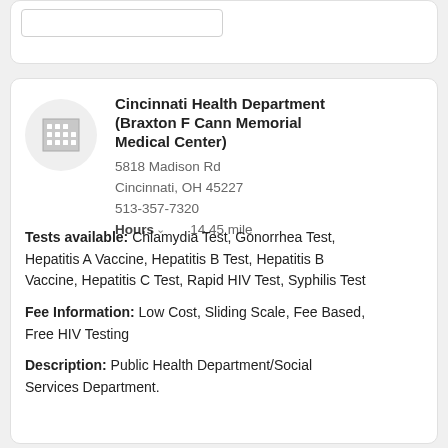Cincinnati Health Department (Braxton F Cann Memorial Medical Center)
5818 Madison Rd
Cincinnati, OH 45227
513-357-7320
Hours  14.45 mile
Tests available: Chlamydia Test, Gonorrhea Test, Hepatitis A Vaccine, Hepatitis B Test, Hepatitis B Vaccine, Hepatitis C Test, Rapid HIV Test, Syphilis Test
Fee Information: Low Cost, Sliding Scale, Fee Based, Free HIV Testing
Description: Public Health Department/Social Services Department.